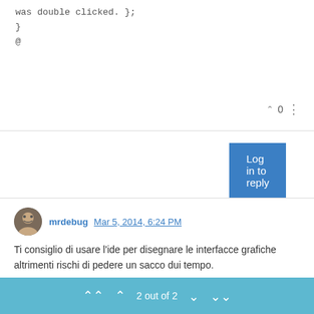was double clicked. };
}
@
^ 0 ⋮
Log in to reply
mrdebug Mar 5, 2014, 6:24 PM
Ti consiglio di usare l'ide per disegnare le interfacce grafiche altrimenti rischi di pedere un sacco dui tempo.
^ 0 ⋮
Log in to reply
2 out of 2